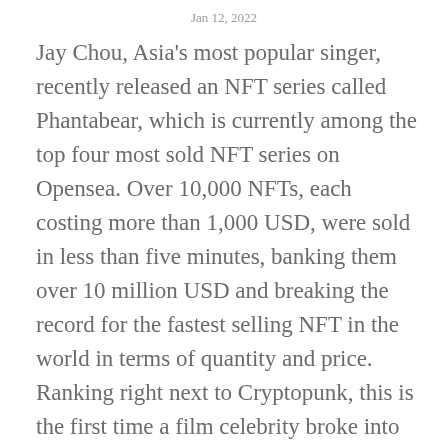Jan 12, 2022
Jay Chou, Asia's most popular singer, recently released an NFT series called Phantabear, which is currently among the top four most sold NFT series on Opensea. Over 10,000 NFTs, each costing more than 1,000 USD, were sold in less than five minutes, banking them over 10 million USD and breaking the record for the fastest selling NFT in the world in terms of quantity and price. Ranking right next to Cryptopunk, this is the first time a film celebrity broke into the top 5 chart. Jay Chou wants to create a new type of NFT by